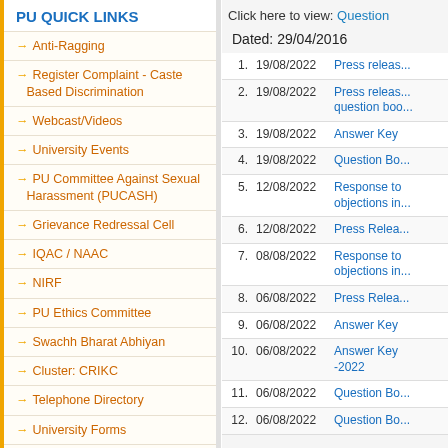PU QUICK LINKS
Anti-Ragging
Register Complaint - Caste Based Discrimination
Webcast/Videos
University Events
PU Committee Against Sexual Harassment (PUCASH)
Grievance Redressal Cell
IQAC / NAAC
NIRF
PU Ethics Committee
Swachh Bharat Abhiyan
Cluster: CRIKC
Telephone Directory
University Forms
Employment / Jobs
Right to Information
Alumni
Tenders
Click here to view: Question
Dated: 29/04/2016
| # | Date | Link |
| --- | --- | --- |
| 1. | 19/08/2022 | Press releas... |
| 2. | 19/08/2022 | Press releas... question boo... |
| 3. | 19/08/2022 | Answer Key |
| 4. | 19/08/2022 | Question Bo... |
| 5. | 12/08/2022 | Response to objections in... |
| 6. | 12/08/2022 | Press Relea... |
| 7. | 08/08/2022 | Response to objections in... |
| 8. | 06/08/2022 | Press Relea... |
| 9. | 06/08/2022 | Answer Key |
| 10. | 06/08/2022 | Answer Key -2022 |
| 11. | 06/08/2022 | Question Bo... |
| 12. | 06/08/2022 | Question Bo... |